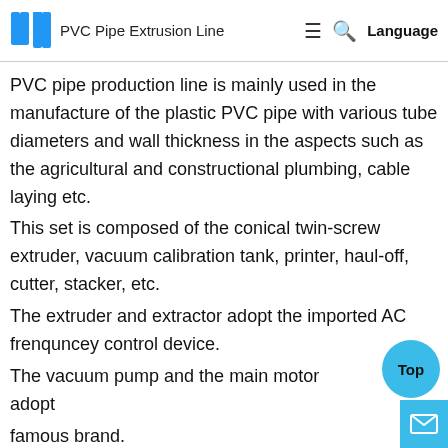PVC Pipe Extrusion Line  ≡  🔍  Language
PVC pipe production line is mainly used in the manufacture of the plastic PVC pipe with various tube diameters and wall thickness in the aspects such as the agricultural and constructional plumbing, cable laying etc.
This set is composed of the conical twin-screw extruder, vacuum calibration tank, printer, haul-off, cutter, stacker, etc.
The extruder and extractor adopt the imported AC frenquncey control device.
The vacuum pump and the main motor adopt famous brand.